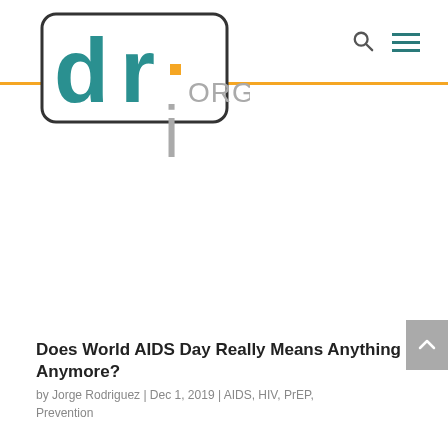[Figure (logo): Dr. Jorge logo — teal 'dr.' letters inside a rounded rectangle, with orange square dot on the 'j', gray lowercase 'j' descender below, and gray 'JORGE' text]
Does World AIDS Day Really Means Anything Anymore?
by Jorge Rodriguez | Dec 1, 2019 | AIDS, HIV, PrEP, Prevention